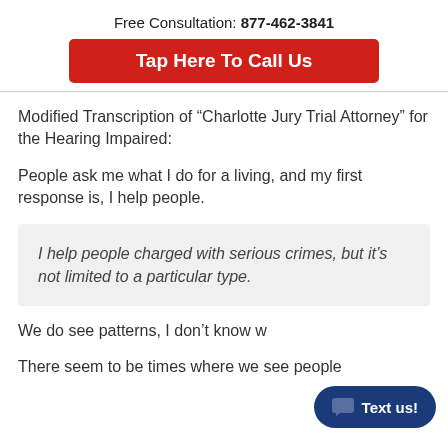Free Consultation: 877-462-3841
[Figure (other): Red button: Tap Here To Call Us]
Modified Transcription of “Charlotte Jury Trial Attorney” for the Hearing Impaired:
People ask me what I do for a living, and my first response is, I help people.
I help people charged with serious crimes, but it’s not limited to a particular type.
We do see patterns, I don’t know w
There seem to be times where we see people
[Figure (other): Blue rounded button: Text us!]